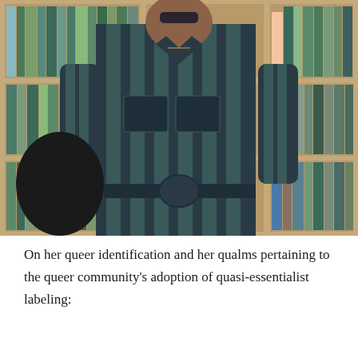[Figure (photo): A person wearing a dark navy and teal striped button-up jumpsuit with chest pockets and a tied waist belt, holding a black bag, standing in front of wooden bookshelves filled with books.]
On her queer identification and her qualms pertaining to the queer community's adoption of quasi-essentialist labeling: